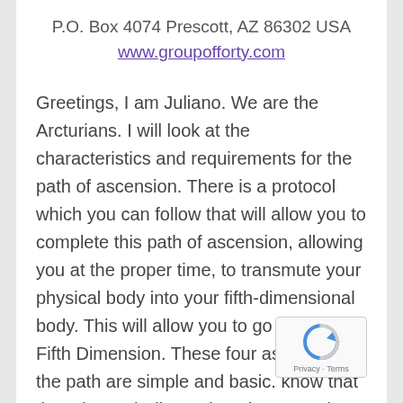P.O. Box 4074 Prescott, AZ 86302 USA
www.groupofforty.com
Greetings, I am Juliano. We are the Arcturians. I will look at the characteristics and requirements for the path of ascension. There is a protocol which you can follow that will allow you to complete this path of ascension, allowing you at the proper time, to transmute your physical body into your fifth-dimensional body. This will allow you to go into the Fifth Dimension. These four aspects of the path are simple and basic. know that there is much discussion about complex energies and different levels of